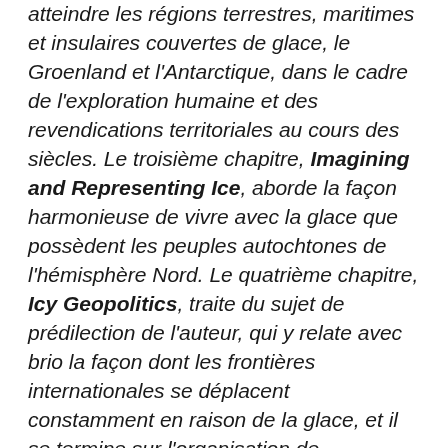atteindre les régions terrestres, maritimes et insulaires couvertes de glace, le Groenland et l'Antarctique, dans le cadre de l'exploration humaine et des revendications territoriales au cours des siècles. Le troisième chapitre, Imagining and Representing Ice, aborde la façon harmonieuse de vivre avec la glace que possèdent les peuples autochtones de l'hémisphère Nord. Le quatrième chapitre, Icy Geopolitics, traite du sujet de prédilection de l'auteur, qui y relate avec brio la façon dont les frontières internationales se déplacent constamment en raison de la glace, et il se termine sur l'organisation de l'Antarctique en vertu du Système du Traité sur l'Antarctique. Les autres chapitres abordent de nombreux sujets concernant le travail, les sports et les loisirs associés à la glace et à l'adaptation à